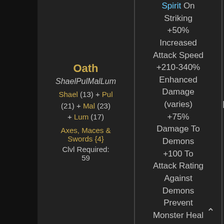Spirit On Striking +50% Increased Attack Speed +210-340% Enhanced Damage (varies) +75% Damage To Demons +100 To Attack Rating Against Demons Prevent Monster Heal +10 To Energy +10-15 Magic Absorb (varies) Level 16
Oath
ShaelPulMalLum
Shael (13) + Pul (21) + Mal (23) + Lum (17)
Axes, Maces & Swords {4}
Clvl Required: 59
Ladder Only